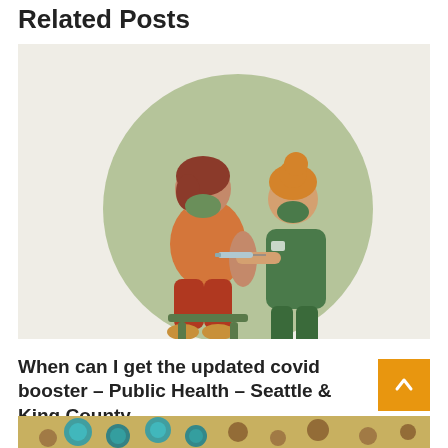Related Posts
[Figure (illustration): Illustration of a person sitting on a stool receiving a vaccine injection in the arm from a healthcare worker wearing green scrubs and a mask. Both figures are wearing face masks. Set against a circular sage-green background on a light beige rectangle.]
When can I get the updated covid booster – Public Health – Seattle & King County
August 31, 2022
[Figure (photo): Partial view of a microscope image showing colorful spherical virus particles in teal/blue and brown tones against a sandy background — bottom strip only visible.]